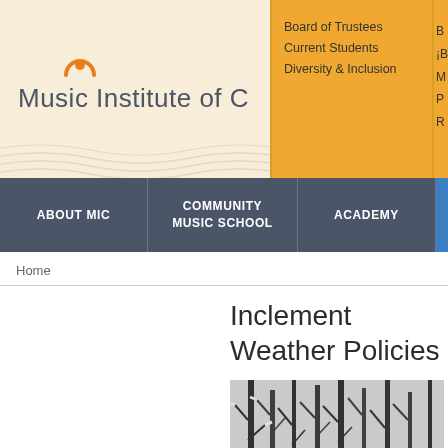[Figure (logo): Music Institute of Chicago logo with orange arc/sun icon above the text]
Board of Trustees
Current Students
Diversity & Inclusion
B
¡B
M
P
R
ABOUT MIC | COMMUNITY MUSIC SCHOOL | ACADEMY
Home
Inclement Weather Policies
[Figure (photo): Black and white photograph of snow-covered bare trees in winter]